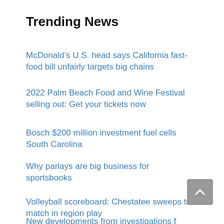Trending News
McDonald’s U.S. head says California fast-food bill unfairly targets big chains
2022 Palm Beach Food and Wine Festival selling out: Get your tickets now
Bosch $200 million investment fuel cells South Carolina
Why parlays are big business for sportsbooks
Volleyball scoreboard: Chestatee sweeps tri-match in region play
Private payrolls grew by just 132,000 in August